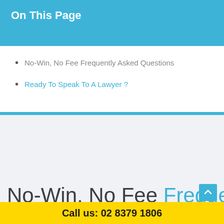On This Page
No-Win, No Fee Frequently Asked Questions
Ready To Speak To A Lawyer ?
No-Win, No Fee Frequently
Call us: 02 8379 1806